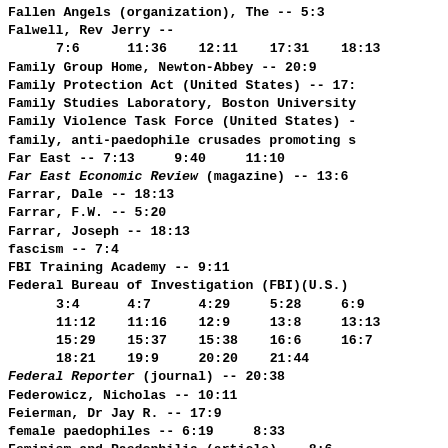Fallen Angels (organization), The -- 5:3
Falwell, Rev Jerry --
      7:6      11:36    12:11    17:31    18:13
Family Group Home, Newton-Abbey -- 20:9
Family Protection Act (United States) -- 17:
Family Studies Laboratory, Boston University
Family Violence Task Force (United States) -
family, anti-paedophile crusades promoting s
Far East -- 7:13    9:40    11:10
Far East Economic Review (magazine) -- 13:6
Farrar, Dale -- 18:13
Farrar, F.W. -- 5:20
Farrar, Joseph -- 18:13
fascism -- 7:4
FBI Training Academy -- 9:11
Federal Bureau of Investigation (FBI)(U.S.)
      3:4      4:7      4:29     5:28     6:9
      11:12    11:16    12:9     13:8     13:13
      15:29    15:37    15:38    16:6     16:7
      18:21    19:9     20:20    21:44
Federal Reporter (journal) -- 20:38
Federowicz, Nicholas -- 10:11
Feierman, Dr Jay R. -- 17:9
female paedophiles -- 6:19    8:33
Feminism and Paedophilia (article) -- 8:6
feminists/feminism